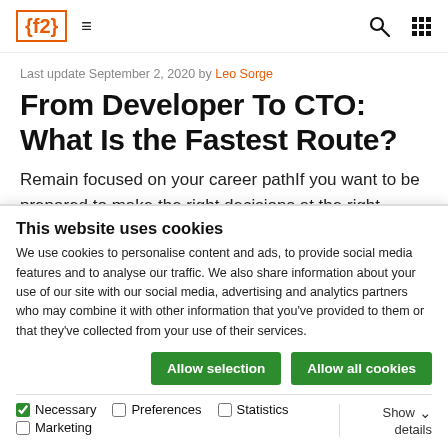{f2} ≡  🔍 ⊞
Last update September 2, 2020 by Leo Sorge
From Developer To CTO: What Is the Fastest Route?
Remain focused on your career pathIf you want to be prepared to make the right decisions at the right
This website uses cookies
We use cookies to personalise content and ads, to provide social media features and to analyse our traffic. We also share information about your use of our site with our social media, advertising and analytics partners who may combine it with other information that you've provided to them or that they've collected from your use of their services.
Allow selection   Allow all cookies
✓ Necessary   ☐ Preferences   ☐ Statistics   ☐ Marketing   Show details